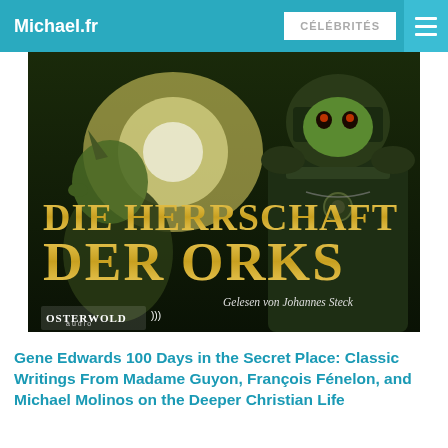Michael.fr | CÉLÉBRITÉS
[Figure (illustration): Book cover of 'Die Herrschaft der Orks' audiobook, published by Osterwold audio, read by Johannes Steck. Fantasy artwork showing two armored orc warriors against a bright background with gold lettering.]
Gene Edwards 100 Days in the Secret Place: Classic Writings From Madame Guyon, François Fénelon, and Michael Molinos on the Deeper Christian Life